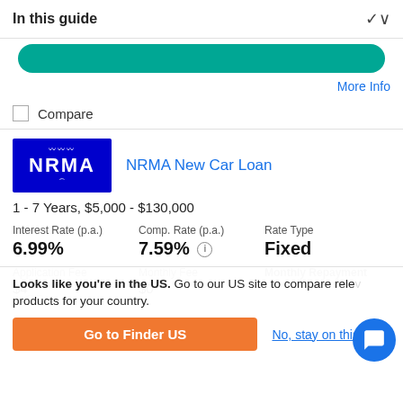In this guide
More Info
Compare
NRMA New Car Loan
1 - 7 Years, $5,000 - $130,000
| Interest Rate (p.a.) | Comp. Rate (p.a.) | Rate Type |
| --- | --- | --- |
| 6.99% | 7.59% | Fixed |
| Application Fee | Monthly Fee | Monthly Repayment |
| --- | --- | --- |
| $4** | $0 |  |
Looks like you're in the US. Go to our US site to compare relevant products for your country.
Go to Finder US
No, stay on this page